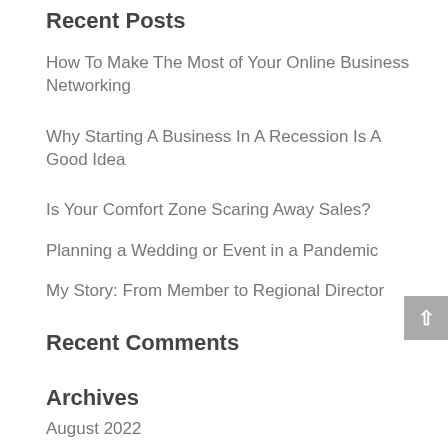Recent Posts
How To Make The Most of Your Online Business Networking
Why Starting A Business In A Recession Is A Good Idea
Is Your Comfort Zone Scaring Away Sales?
Planning a Wedding or Event in a Pandemic
My Story: From Member to Regional Director
Recent Comments
Archives
August 2022